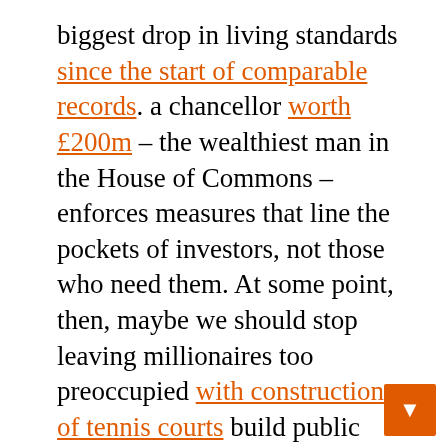biggest drop in living standards since the start of comparable records. a chancellor worth £200m – the wealthiest man in the House of Commons – enforces measures that line the pockets of investors, not those who need them. At some point, then, maybe we should stop leaving millionaires too preoccupied with construction of tennis courts build public policy. The myth that the Conservatives are the party of the economy has long been debunking. This crisis cemented it. But unless we do something, it will always be the public who will have to pay the price.
Change comes through collective action. Join the nationwide protests against the cost of living on 12 February put the standard of living before